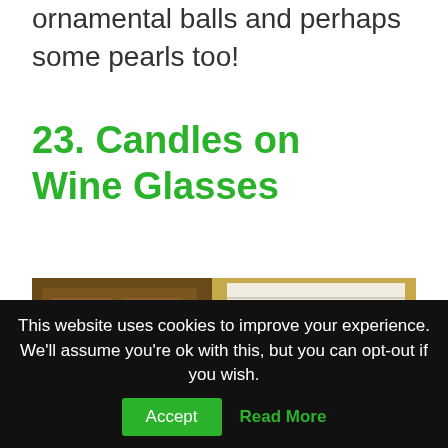ornamental balls and perhaps some pearls too!
23. Candles on Wine Glasses
[Figure (photo): Two red pillar candles on a surface in front of a wooden door and window with white horizontal blinds in a room with yellowish walls.]
This website uses cookies to improve your experience. We'll assume you're ok with this, but you can opt-out if you wish.